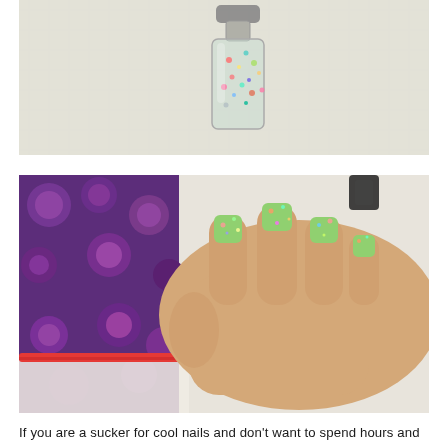[Figure (photo): Top-down view of a nail polish bottle with colorful glitter/confetti pieces inside, on a light fabric background]
[Figure (photo): A hand with nails painted in green glitter/confetti nail polish (Maybelline Color Show Go Graffiti), resting against a purple floral patterned fabric and red zipper pouch]
If you are a sucker for cool nails and don't want to spend hours and half your pocket money in salon getting a  art art done, just get Maybelline Color Show Go Graffiti Nail Polish, this nail art in a bottle is totally worth the money